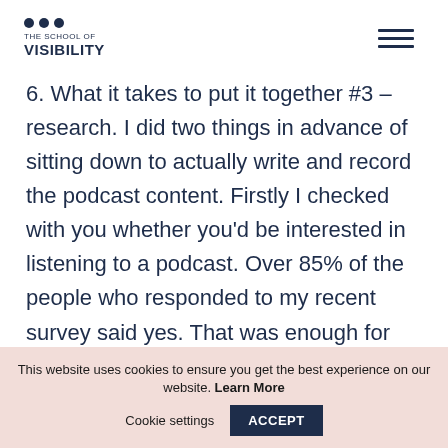THE SCHOOL OF VISIBILITY
6. What it takes to put it together #3 – research. I did two things in advance of sitting down to actually write and record the podcast content. Firstly I checked with you whether you'd be interested in listening to a podcast. Over 85% of the people who responded to my recent survey said yes. That was enough for me to green
This website uses cookies to ensure you get the best experience on our website. Learn More   Cookie settings   ACCEPT